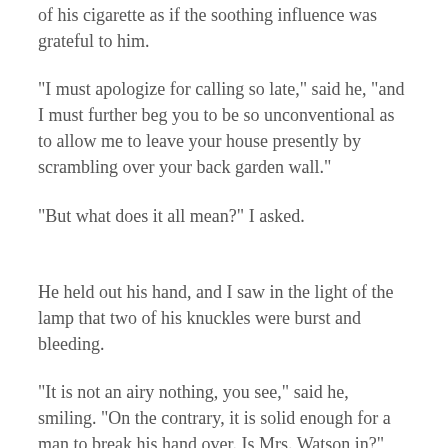of his cigarette as if the soothing influence was grateful to him.
"I must apologize for calling so late," said he, "and I must further beg you to be so unconventional as to allow me to leave your house presently by scrambling over your back garden wall."
"But what does it all mean?" I asked.
He held out his hand, and I saw in the light of the lamp that two of his knuckles were burst and bleeding.
"It is not an airy nothing, you see," said he, smiling. "On the contrary, it is solid enough for a man to break his hand over. Is Mrs. Watson in?"
"She is away upon a visit."